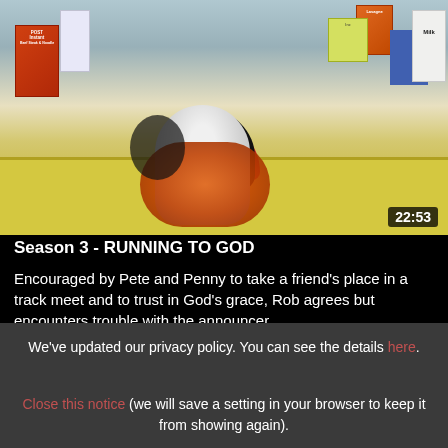[Figure (screenshot): Video thumbnail showing a puppet character wearing a red hat, with a white body and orange yarn, standing in front of shelves with food boxes and a milk carton. Timestamp 22:53 shown in bottom-right corner.]
Season 3 - RUNNING TO GOD
Encouraged by Pete and Penny to take a friend's place in a track meet and to trust in God's grace, Rob agrees but encounters trouble with the announcer
We've updated our privacy policy. You can see the details here.
Close this notice (we will save a setting in your browser to keep it from showing again).